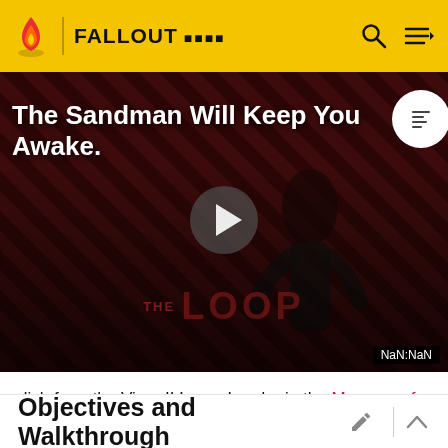FALLOUT Wiki
[Figure (screenshot): Video player thumbnail showing 'The Sandman Will Keep You Awake' title with a dark figure against red/black diagonal striped background, THE LOOP watermark, play button, and NaN:NaN timer. Part of Fandom wiki video player.]
dish from the Virgo II Lunar Lander in the Museum of Technology and installing it at the top of the Washington Monument.
Objectives and Walkthrough